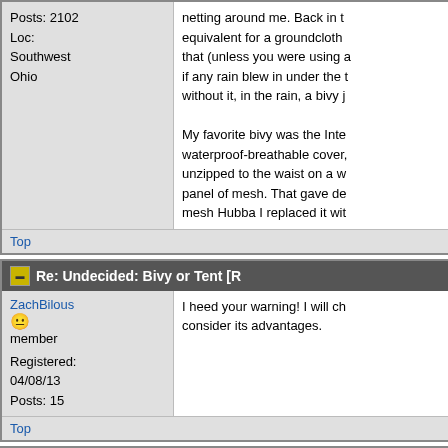Posts: 2102
Loc: Southwest Ohio
netting around me. Back in the equivalent for a groundcloth that (unless you were using a if any rain blew in under the t without it, in the rain, a bivy j
My favorite bivy was the Inte waterproof-breathable cover, unzipped to the waist on a w panel of mesh. That gave de mesh Hubba I replaced it wit
Top
Re: Undecided: Bivy or Tent [R
ZachBilous
member
Registered: 04/08/13
Posts: 15
I heed your warning! I will ch consider its advantages.
Top
Re: Undecided: Bivy or Tent [R
Jimshaw]
ZachBilous
I agree Jim! Good points ma